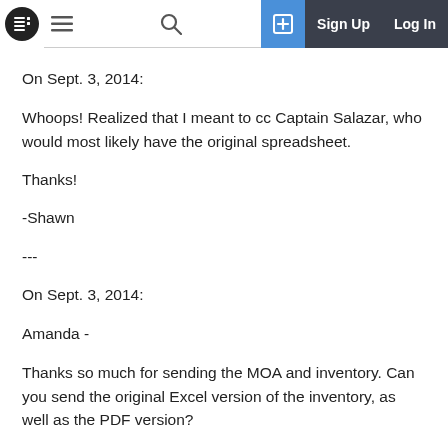Sign Up  Log In
On Sept. 3, 2014:
Whoops! Realized that I meant to cc Captain Salazar, who would most likely have the original spreadsheet.
Thanks!
-Shawn
---
On Sept. 3, 2014:
Amanda -
Thanks so much for sending the MOA and inventory. Can you send the original Excel version of the inventory, as well as the PDF version?